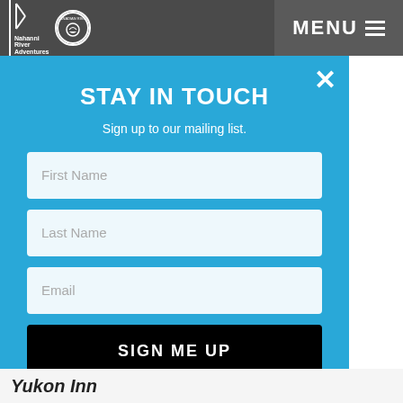Nahanni River Adventures | Canadian River [logo] | MENU
[Figure (screenshot): Website screenshot showing a modal popup overlay on a navigation website. The modal has a blue background with 'STAY IN TOUCH' heading, a subtitle 'Sign up to our mailing list.', three input fields (First Name, Last Name, Email), and a black 'SIGN ME UP' button. Behind the modal, a dark navigation bar with logos and MENU button is visible at the top, and partial page text is visible on the right side.]
STAY IN TOUCH
Sign up to our mailing list.
First Name
Last Name
Email
SIGN ME UP
ian River
sts a

ped and
these
e reviews
these
s know.
Yukon Inn